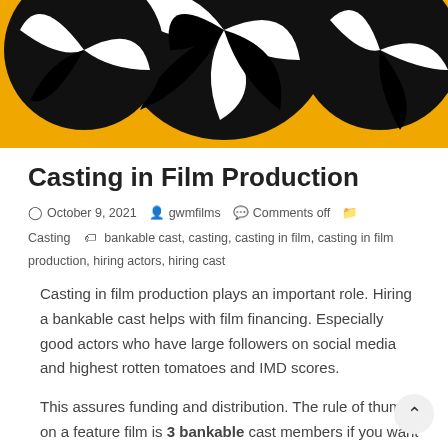[Figure (illustration): Orange/yellow background with black and white pinwheel/windmill logo graphic, partially cropped at top]
Casting in Film Production
October 9, 2021   gwmfilms   Comments off   Casting   bankable cast, casting, casting in film, casting in film production, hiring actors, hiring cast
Casting in film production plays an important role. Hiring a bankable cast helps with film financing. Especially good actors who have large followers on social media and highest rotten tomatoes and IMD scores.
This assures funding and distribution. The rule of thumb on a feature film is 3 bankable cast members if you want world-wide box